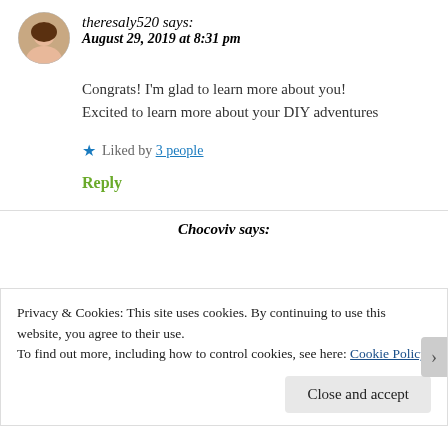[Figure (photo): Circular avatar photo of a woman with dark hair]
theresaly520 says:
August 29, 2019 at 8:31 pm
Congrats! I'm glad to learn more about you! Excited to learn more about your DIY adventures
★ Liked by 3 people
Reply
Chocoviv says:
Privacy & Cookies: This site uses cookies. By continuing to use this website, you agree to their use.
To find out more, including how to control cookies, see here: Cookie Policy
Close and accept